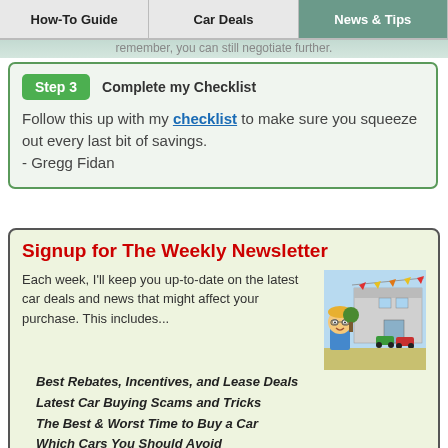remember, you can still negotiate further.
How-To Guide | Car Deals | News & Tips
Step 3 — Complete my Checklist
Follow this up with my checklist to make sure you squeeze out every last bit of savings.
- Gregg Fidan
Signup for The Weekly Newsletter
Each week, I'll keep you up-to-date on the latest car deals and news that might affect your purchase. This includes...
[Figure (illustration): Cartoon illustration of a car dealership with colorful bunting flags and a smiling boy in front]
Best Rebates, Incentives, and Lease Deals
Latest Car Buying Scams and Tricks
The Best & Worst Time to Buy a Car
Which Cars You Should Avoid
Enter Email